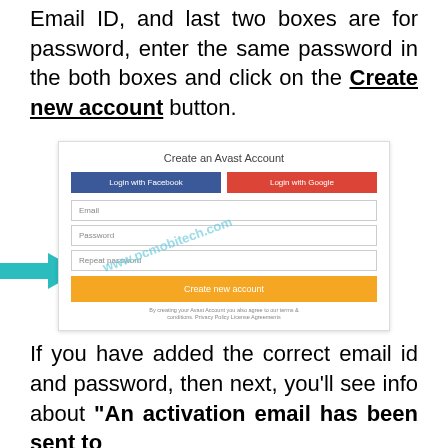Email ID, and last two boxes are for password, enter the same password in the both boxes and click on the Create new account button.
[Figure (screenshot): Screenshot of the 'Create an Avast Account' form with Login with Facebook and Login with Google buttons, Email, Password, Repeat password input fields, and a Create new account orange button. A teal arrow points to the Create new account button. The watermark www.pcmobitech.com is overlaid.]
If you have added the correct email id and password, then next, you'll see info about "An activation email has been sent to